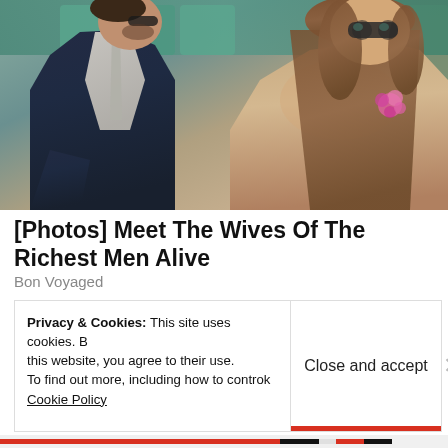[Figure (photo): A man in a dark navy suit with a light gray tie and a woman with long brown hair wearing sunglasses and a beige lace top with a pink flower corsage, seated at what appears to be a sporting event with teal/green seats in the background.]
[Photos] Meet The Wives Of The Richest Men Alive
Bon Voyaged
Privacy & Cookies: This site uses cookies. By continuing to use this website, you agree to their use.
To find out more, including how to control cookies, see here:
Cookie Policy
Close and accept